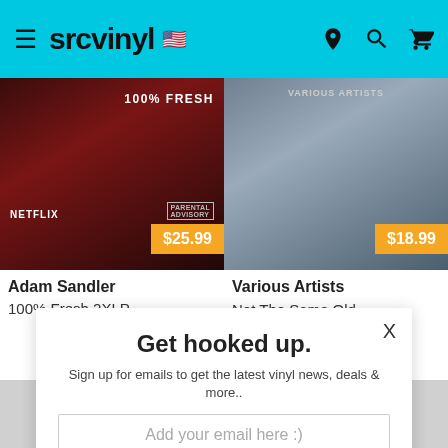srcvinyl
[Figure (photo): Album cover for Adam Sandler 100% Fresh 2XLP showing dark red background with '100% FRESH' text, Netflix logo, and $25.99 price badge]
Adam Sandler
100% Fresh 2XLP
[Figure (photo): Album cover for Various Artists Not The Same Old Blues Crap LP showing a person in a grey jacket with $18.99 price badge]
Various Artists
Not The Same Old Blues Crap LP
Vinyl ▾
Get hooked up.
Sign up for emails to get the latest vinyl news, deals & more..
Add your email here :)
Sign me up!